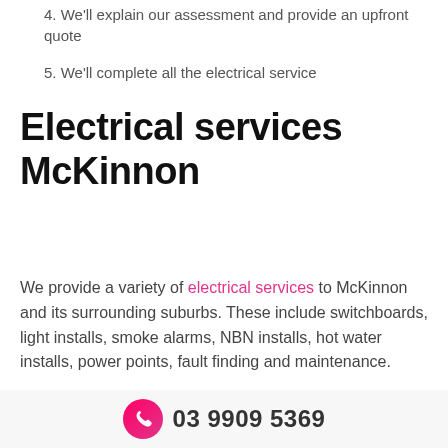4. We'll explain our assessment and provide an upfront quote
5. We'll complete all the electrical service
Electrical services McKinnon
We provide a variety of electrical services to McKinnon and its surrounding suburbs. These include switchboards, light installs, smoke alarms, NBN installs, hot water installs, power points, fault finding and maintenance.
03 9909 5369